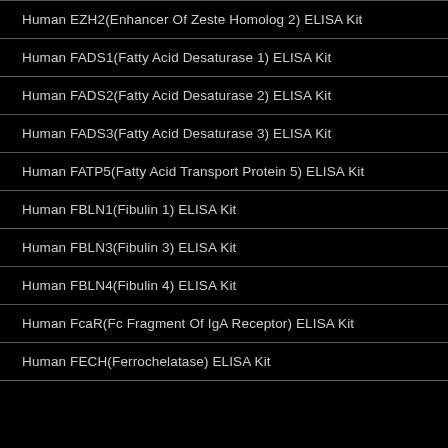Human EZH2(Enhancer Of Zeste Homolog 2) ELISA Kit
Human FADS1(Fatty Acid Desaturase 1) ELISA Kit
Human FADS2(Fatty Acid Desaturase 2) ELISA Kit
Human FADS3(Fatty Acid Desaturase 3) ELISA Kit
Human FATP5(Fatty Acid Transport Protein 5) ELISA Kit
Human FBLN1(Fibulin 1) ELISA Kit
Human FBLN3(Fibulin 3) ELISA Kit
Human FBLN4(Fibulin 4) ELISA Kit
Human FcaR(Fc Fragment Of IgA Receptor) ELISA Kit
Human FECH(Ferrochelatase) ELISA Kit